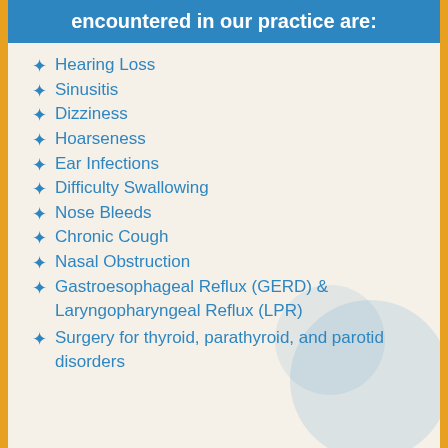encountered in our practice are:
Hearing Loss
Sinusitis
Dizziness
Hoarseness
Ear Infections
Difficulty Swallowing
Nose Bleeds
Chronic Cough
Nasal Obstruction
Gastroesophageal Reflux (GERD) & Laryngopharyngeal Reflux (LPR)
Surgery for thyroid, parathyroid, and parotid disorders